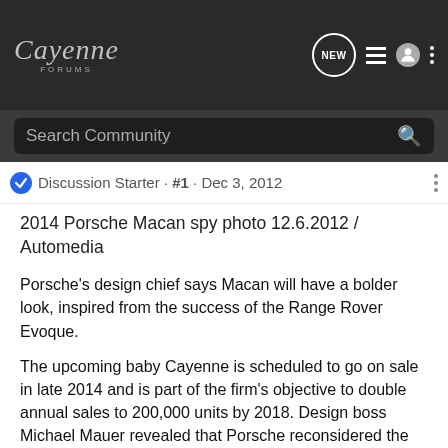Cayenne Forums
Search Community
Discussion Starter · #1 · Dec 3, 2012
2014 Porsche Macan spy photo 12.6.2012 / Automedia
Porsche's design chief says Macan will have a bolder look, inspired from the success of the Range Rover Evoque.
The upcoming baby Cayenne is scheduled to go on sale in late 2014 and is part of the firm's objective to double annual sales to 200,000 units by 2018. Design boss Michael Mauer revealed that Porsche reconsidered the design of the Macan after Land Rover launched the Evoque last year.
He added that it's common for a designer to modify the look of an upcoming model after seeing the design of a competitor, but